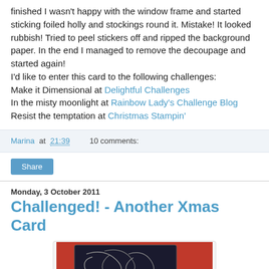finished I wasn't happy with the window frame and started sticking foiled holly and stockings round it. Mistake! It looked rubbish! Tried to peel stickers off and ripped the background paper. In the end I managed to remove the decoupage and started again!
I'd like to enter this card to the following challenges:
Make it Dimensional at Delightful Challenges
In the misty moonlight at Rainbow Lady's Challenge Blog
Resist the temptation at Christmas Stampin'
Marina at 21:39   10 comments:
Share
Monday, 3 October 2011
Challenged! - Another Xmas Card
[Figure (photo): A Christmas card with a red background and dark embossed/foiled design elements, partially visible at the bottom of the page.]